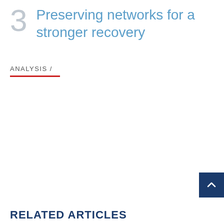3 Preserving networks for a stronger recovery
ANALYSIS /
RELATED ARTICLES